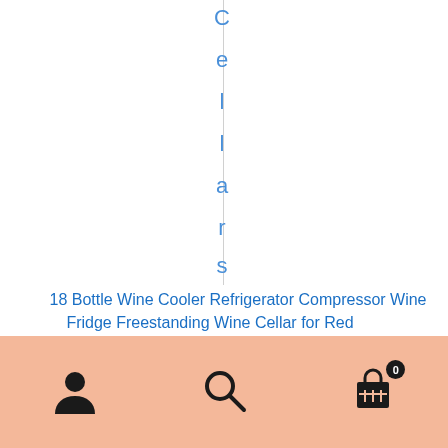[Figure (screenshot): Vertical text reading 'Cellars' rotated 90 degrees with a thin vertical divider line]
18 Bottle Wine Cooler Refrigerator Compressor Wine Fridge Freestanding Wine Cellar for Red
[Figure (other): Blue rounded button with shopping cart icon and text 'Choose This Item']
[Figure (other): Peach/salmon colored bottom navigation bar with user profile icon, search icon, and shopping basket icon with badge showing 0]